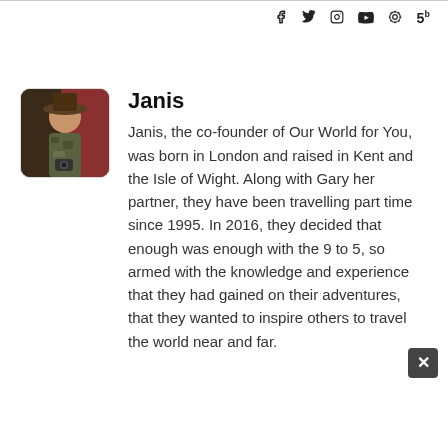f  𝕏  ◎  ▶  𝒫  5
[Figure (photo): Profile photo of Janis, a person wearing a hat, with a blurred colorful background]
Janis
Janis, the co-founder of Our World for You, was born in London and raised in Kent and the Isle of Wight. Along with Gary her partner, they have been travelling part time since 1995. In 2016, they decided that enough was enough with the 9 to 5, so armed with the knowledge and experience that they had gained on their adventures, that they wanted to inspire others to travel the world near and far.